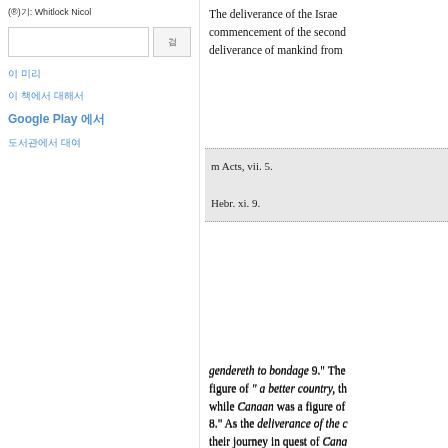(®)기: Whitlock Nicol
이 미리
이 책에서 대해서
Google Play 에서
도서관에서 대여
The deliverance of the Israe commencement of the second deliverance of mankind from
m Acts, vii. 5.

Hebr. xi. 9.
gendereth to bondage 9." The figure of " a better country, th while Canaan was a figure of 8." As the deliverance of the c their journey in quest of Cana so did the people of Israel rep journeying through this world heaven. The first book of Mos the land of Egypt. As, in the c man from Paradise, so does th places them in Egypt, and whi
s Hebr. xi. 10.
· Gal. iv. 24.